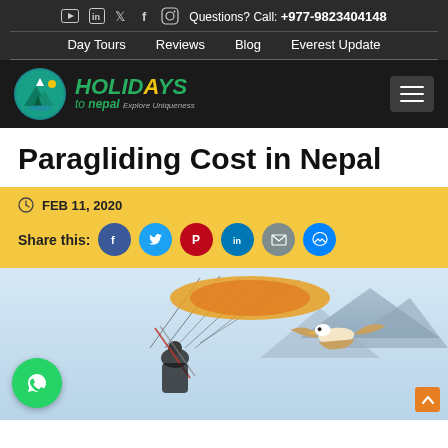Questions? Call: +977-9823404148 | Day Tours | Reviews | Blog | Everest Update
[Figure (logo): Holidays to Nepal logo with circular mountain/nature emblem and green italic text]
Paragliding Cost in Nepal
FEB 11, 2020
Share this:
[Figure (photo): Paraglider in tandem flight with a large eagle beside them, mountains in background, Nepal landscape]